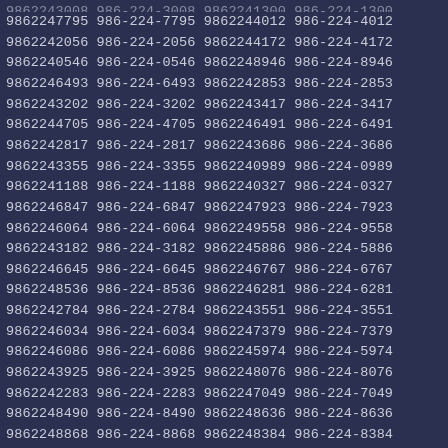9862243008 986-224-3008 9862241300 986-224-1300
9862247795 986-224-7795 9862244012 986-224-4012
9862242056 986-224-2056 9862244172 986-224-4172
9862240546 986-224-0546 9862248946 986-224-8946
9862246493 986-224-6493 9862242853 986-224-2853
9862243202 986-224-3202 9862243417 986-224-3417
9862244705 986-224-4705 9862246491 986-224-6491
9862242817 986-224-2817 9862243686 986-224-3686
9862243355 986-224-3355 9862240989 986-224-0989
9862241188 986-224-1188 9862240327 986-224-0327
9862246847 986-224-6847 9862247923 986-224-7923
9862246064 986-224-6064 9862249558 986-224-9558
9862243182 986-224-3182 9862245886 986-224-5886
9862246645 986-224-6645 9862246767 986-224-6767
9862248536 986-224-8536 9862246281 986-224-6281
9862242784 986-224-2784 9862243551 986-224-3551
9862246034 986-224-6034 9862247379 986-224-7379
9862246086 986-224-6086 9862245974 986-224-5974
9862243925 986-224-3925 9862248076 986-224-8076
9862242283 986-224-2283 9862247049 986-224-7049
9862248490 986-224-8490 9862248636 986-224-8636
9862248868 986-224-8868 9862248384 986-224-8384
9862247580 986-224-7580 9862248563 986-224-8563
9862249355 986-224-9355 9862242077 986-224-2077
9862242334 986-224-2334 9862240832 986-224-0832
9862249292 986-224-9292 9862245315 986-224-5315
9862243540 986-224-3540 9862248141 986-224-8141
9862249482 986-224-9482 9862243180 986-224-3180
9862241219 986-224-1219 9862247258 986-224-7258